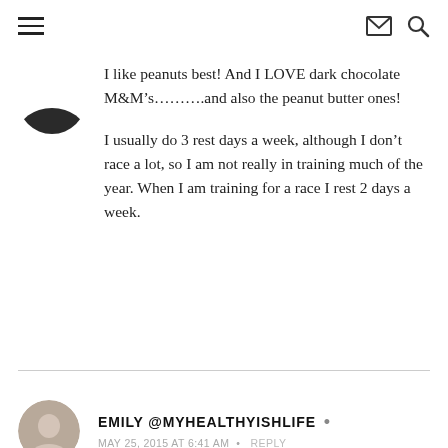Navigation header with hamburger menu, email icon, and search icon
I like peanuts best! And I LOVE dark chocolate M&M’s……….and also the peanut butter ones!

I usually do 3 rest days a week, although I don’t race a lot, so I am not really in training much of the year. When I am training for a race I rest 2 days a week.
EMILY @MYHEALTHYISHLIFE •
MAY 25, 2015 AT 6:41 AM • REPLY